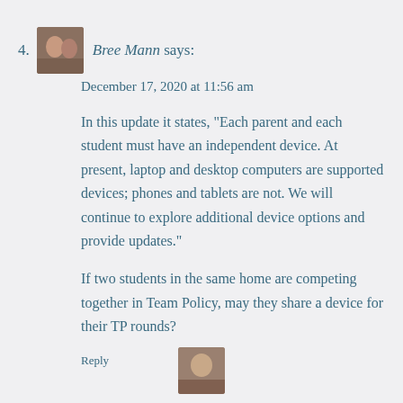4. Bree Mann says:
December 17, 2020 at 11:56 am
In this update it states, "Each parent and each student must have an independent device. At present, laptop and desktop computers are supported devices; phones and tablets are not. We will continue to explore additional device options and provide updates."
If two students in the same home are competing together in Team Policy, may they share a device for their TP rounds?
Reply